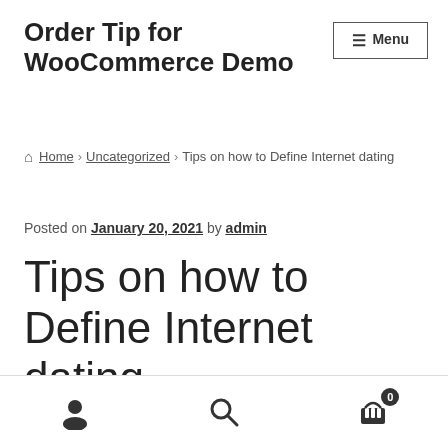Order Tip for WooCommerce Demo
Home › Uncategorized › Tips on how to Define Internet dating
Posted on January 20, 2021 by admin
Tips on how to Define Internet dating
[user icon] [search icon] [cart icon 0]